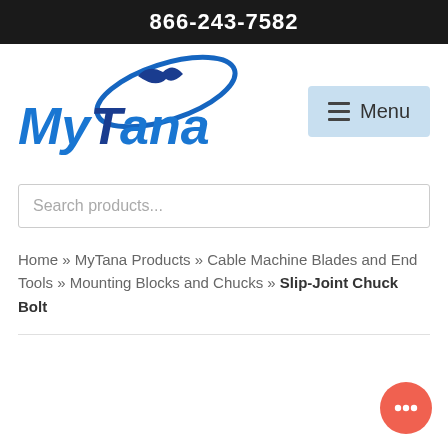866-243-7582
[Figure (logo): MyTana company logo in blue with swoosh graphic]
Menu
Search products...
Home » MyTana Products » Cable Machine Blades and End Tools » Mounting Blocks and Chucks » Slip-Joint Chuck Bolt